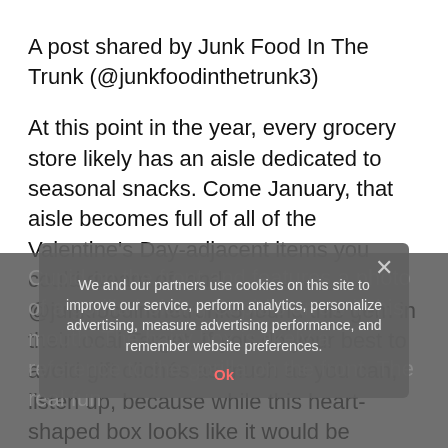A post shared by Junk Food In The Trunk (@junkfoodinthetrunk3)
At this point in the year, every grocery store likely has an aisle dedicated to seasonal snacks. Come January, that aisle becomes full of all of the Valentine's Day-adjacent items you could dream of, and @junkfoodinthetrunk3 found this gem in their local Target. If you do your best to avoid gift clichés as much as you can, listen up, because while this heart-shaped box looks like it would be stuffed with chocolate truffles it's actually ideal for the meat-loving person in your life. Jack Link's put together the gift and the heart-shaped box is covered in brown faux hair instead of any glittery
Cupid on the front and features a photo of a gorilla holding Cupid's arrow in his mouth. The hairy box is likely a reference to the gorilla on the front. The real fun
We and our partners use cookies on this site to improve our service, perform analytics, personalize advertising, measure advertising performance, and remember website preferences.